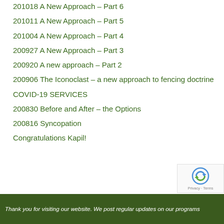201018 A New Approach – Part 6
201011 A New Approach – Part 5
201004 A New Approach – Part 4
200927 A New Approach – Part 3
200920 A new approach – Part 2
200906 The Iconoclast – a new approach to fencing doctrine
COVID-19 SERVICES
200830 Before and After – the Options
200816 Syncopation
Congratulations Kapil!
Thank you for visiting our website. We post regular updates on our programs